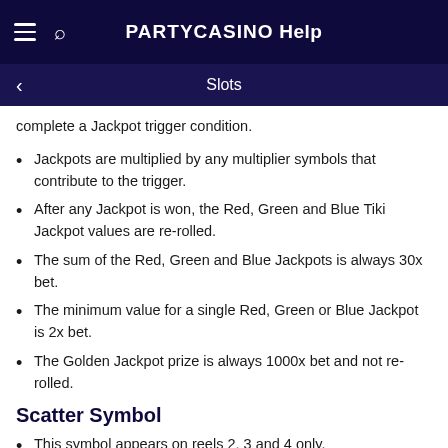PartyCasino Help
Slots
complete a Jackpot trigger condition.
Jackpots are multiplied by any multiplier symbols that contribute to the trigger.
After any Jackpot is won, the Red, Green and Blue Tiki Jackpot values are re-rolled.
The sum of the Red, Green and Blue Jackpots is always 30x bet.
The minimum value for a single Red, Green or Blue Jackpot is 2x bet.
The Golden Jackpot prize is always 1000x bet and not re-rolled.
Scatter Symbol
This symbol appears on reels 2, 3 and 4 only.
Scatters do not create their own win.
Free Spins